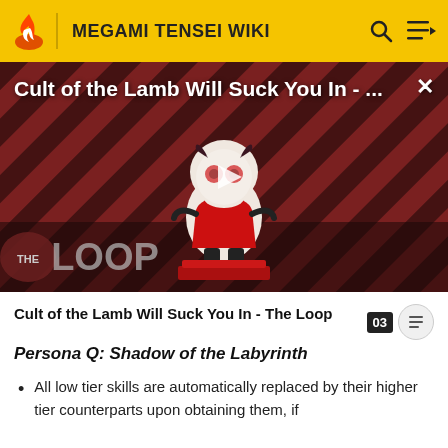MEGAMI TENSEI WIKI
[Figure (screenshot): Video thumbnail for 'Cult of the Lamb Will Suck You In - The Loop' showing a cartoon lamb character with red eyes on a striped red and dark background, with 'THE LOOP' text and a play button overlay]
Cult of the Lamb Will Suck You In - The Loop
Persona Q: Shadow of the Labyrinth
All low tier skills are automatically replaced by their higher tier counterparts upon obtaining them, if